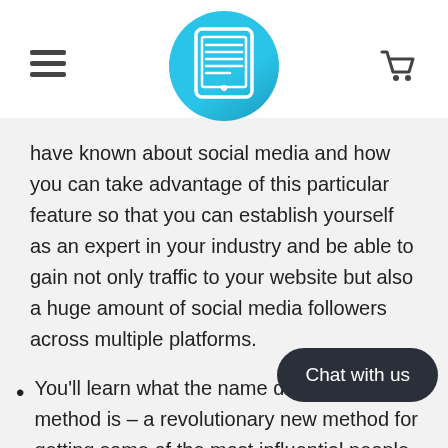[Header with hamburger menu, document logo, and cart icon]
have known about social media and how you can take advantage of this particular feature so that you can establish yourself as an expert in your industry and be able to gain not only traffic to your website but also a huge amount of social media followers across multiple platforms.
You'll learn what the name dropping method is – a revolutionary new method for getting some of the most influential people o... link directly to your website wi... asking for a link, or anything else for that matter, in return.